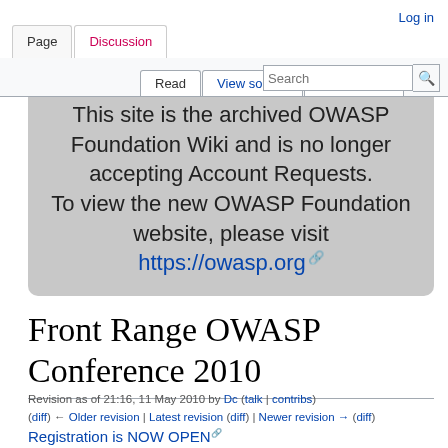Page | Discussion | Log in
Read | View source | View history | Search
This site is the archived OWASP Foundation Wiki and is no longer accepting Account Requests. To view the new OWASP Foundation website, please visit https://owasp.org
Front Range OWASP Conference 2010
Revision as of 21:16, 11 May 2010 by Dc (talk | contribs)
(diff) ← Older revision | Latest revision (diff) | Newer revision → (diff)
Registration is NOW OPEN